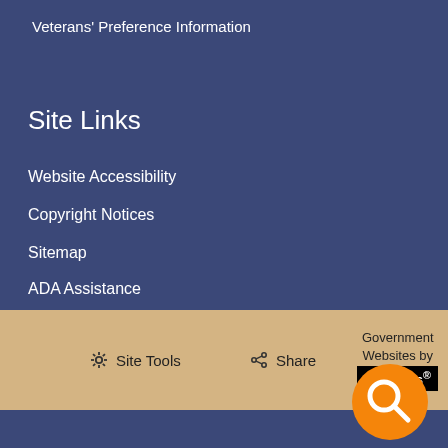Veterans' Preference Information
Site Links
Website Accessibility
Copyright Notices
Sitemap
ADA Assistance
Site Tools   Share   Government Websites by CivicPlus®